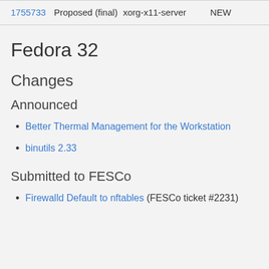| ID | Status | Package | State |
| --- | --- | --- | --- |
| 1755733 | Proposed (final) | xorg-x11-server | NEW |
Fedora 32
Changes
Announced
Better Thermal Management for the Workstation
binutils 2.33
Submitted to FESCo
Firewalld Default to nftables (FESCo ticket #2231)